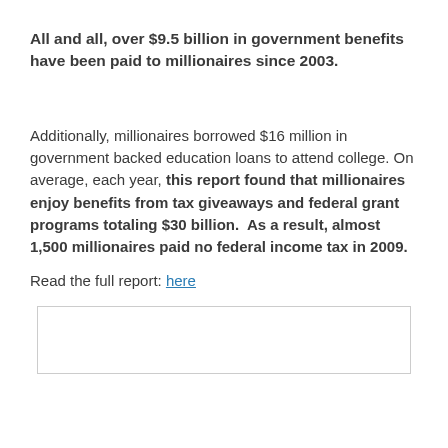All and all, over $9.5 billion in government benefits have been paid to millionaires since 2003.
Additionally, millionaires borrowed $16 million in government backed education loans to attend college. On average, each year, this report found that millionaires enjoy benefits from tax giveaways and federal grant programs totaling $30 billion.  As a result, almost 1,500 millionaires paid no federal income tax in 2009.
Read the full report: here
[Figure (other): Empty outlined box/frame at the bottom of the page]